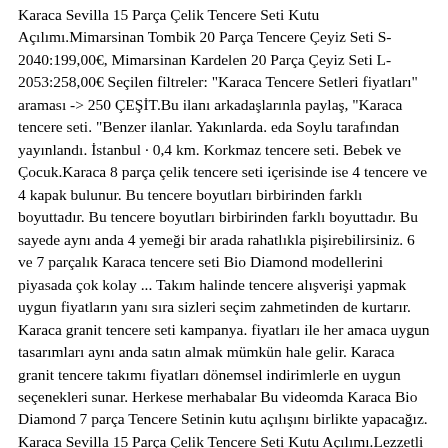Karaca Sevilla 15 Parça Çelik Tencere Seti Kutu Açılımı.Mimarsinan Tombik 20 Parça Tencere Çeyiz Seti S-2040:199,00€, Mimarsinan Kardelen 20 Parça Çeyiz Seti L-2053:258,00€ Seçilen filtreler: "Karaca Tencere Setleri fiyatları" araması -> 250 ÇEŞİT.Bu ilanı arkadaşlarınla paylaş, "Karaca tencere seti. "Benzer ilanlar. Yakınlarda. eda Soylu tarafından yayınlandı. İstanbul · 0,4 km. Korkmaz tencere seti. Bebek ve Çocuk.Karaca 8 parça çelik tencere seti içerisinde ise 4 tencere ve 4 kapak bulunur. Bu tencere boyutları birbirinden farklı boyuttadır. Bu tencere boyutları birbirinden farklı boyuttadır. Bu sayede aynı anda 4 yemeği bir arada rahatlıkla pişirebilirsiniz. 6 ve 7 parçalık Karaca tencere seti Bio Diamond modellerini piyasada çok kolay ... Takım halinde tencere alışverişi yapmak uygun fiyatların yanı sıra sizleri seçim zahmetinden de kurtarır. Karaca granit tencere seti kampanya. fiyatları ile her amaca uygun tasarımları aynı anda satın almak mümkün hale gelir. Karaca granit tencere takımı fiyatları dönemsel indirimlerle en uygun seçenekleri sunar. Herkese merhabalar Bu videomda Karaca Bio Diamond 7 parça Tencere Setinin kutu açılışını birlikte yapacağız. Karaca Sevilla 15 Parça Çelik Tencere Seti Kutu Açılımı.Lezzetli yemekler için en uygun ve en şık tencere setleri Karaca'da! Yeni sezonun indirimli fiyatlarından faydalanmak için hemen tıklayın. ... Tencere Seti (68 ... Feb 18, 2020 · En güzel Karaca tencere seti modellerinin bazılarını sizin için seçtik ve onları listeledik. Ama unutmamız gereken bir konu var. en kaliteli tencere ve tavaları kullanmak